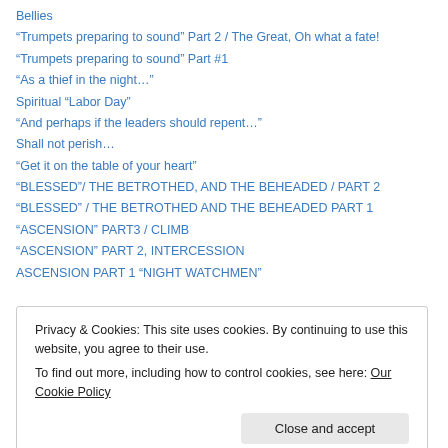Bellies
“Trumpets preparing to sound” Part 2 / The Great, Oh what a fate!
“Trumpets preparing to sound” Part #1
“As a thief in the night…”
Spiritual “Labor Day”
“And perhaps if the leaders should repent…”
Shall not perish…
“Get it on the table of your heart”
“BLESSED”/ THE BETROTHED, AND THE BEHEADED / PART 2
“BLESSED” / THE BETROTHED AND THE BEHEADED PART 1
“ASCENSION” PART3 / CLIMB
“ASCENSION” PART 2, INTERCESSION
ASCENSION PART 1 “NIGHT WATCHMEN”
Privacy & Cookies: This site uses cookies. By continuing to use this website, you agree to their use.
To find out more, including how to control cookies, see here: Our Cookie Policy
“GO FOR THE GOLD BUT PLEASE, HOLD THE JADE”